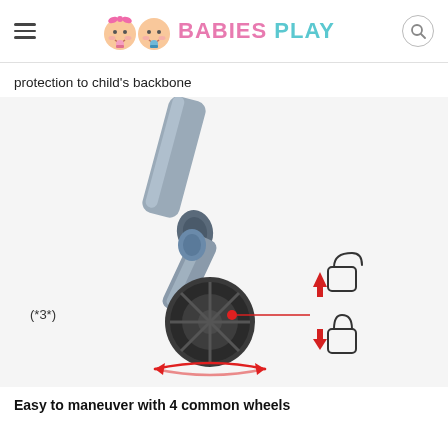BABIES PLAY
protection to child's backbone
[Figure (photo): Close-up photo of a stroller wheel/caster with a swivel mechanism. A red dot is visible on the wheel hub. Two red arrows and lock icons are shown on the right side: one arrow pointing up (unlock) and one pointing down (lock). A red circular arrow at the bottom indicates 360-degree rotation. A label (*3*) appears on the left side.]
Easy to maneuver with 4 common wheels